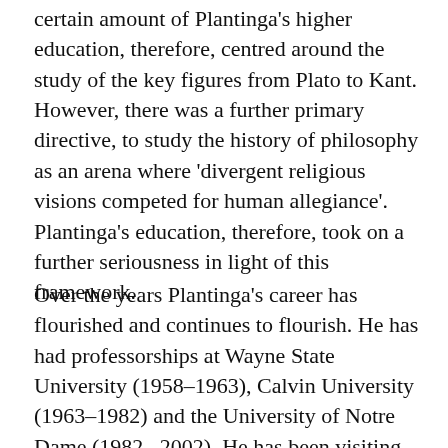certain amount of Plantinga's higher education, therefore, centred around the study of the key figures from Plato to Kant. However, there was a further primary directive, to study the history of philosophy as an arena where 'divergent religious visions competed for human allegiance'. Plantinga's education, therefore, took on a further seriousness in light of this framework.
Over the years Plantinga's career has flourished and continues to flourish. He has had professorships at Wayne State University (1958–1963), Calvin University (1963–1982) and the University of Notre Dame (1982–2002). He has been visiting professor at a number of first-rate universities: Harvard (1964–1965), Chicago (1967), Michigan (1967), Boston (1969), Indiana (1970), UCLA (1972), Syracuse (1978) and Arizona (1980). Among the lectures he has been invited to give, of particular note are that he was Suarez Lecturer…